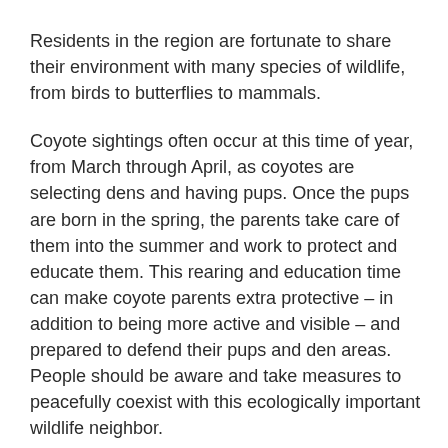Residents in the region are fortunate to share their environment with many species of wildlife, from birds to butterflies to mammals.
Coyote sightings often occur at this time of year, from March through April, as coyotes are selecting dens and having pups. Once the pups are born in the spring, the parents take care of them into the summer and work to protect and educate them. This rearing and education time can make coyote parents extra protective – in addition to being more active and visible – and prepared to defend their pups and den areas. People should be aware and take measures to peacefully coexist with this ecologically important wildlife neighbor.
Coyotes are an important predator in the environmental food chain, with their diet consisting of voles, mice, shrews, squirrels, rabbits, other small mammals, as well as fruits, berries, roadkill and even beaver and